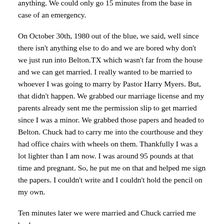anything. We could only go 15 minutes from the base in case of an emergency.
On October 30th, 1980 out of the blue, we said, well since there isn't anything else to do and we are bored why don't we just run into Belton.TX which wasn't far from the house and we can get married. I really wanted to be married to whoever I was going to marry by Pastor Harry Myers. But, that didn't happen. We grabbed our marriage license and my parents already sent me the permission slip to get married since I was a minor. We grabbed those papers and headed to Belton. Chuck had to carry me into the courthouse and they had office chairs with wheels on them. Thankfully I was a lot lighter than I am now. I was around 95 pounds at that time and pregnant. So, he put me on that and helped me sign the papers. I couldn't write and I couldn't hold the pencil on my own.
Ten minutes later we were married and Chuck carried me back